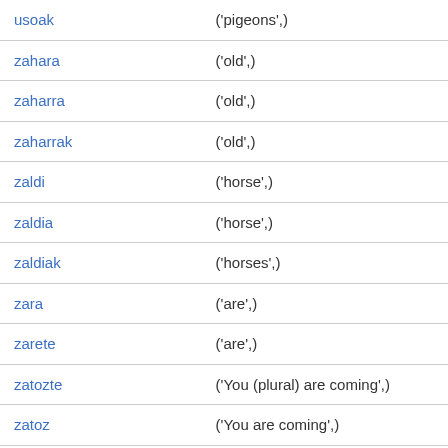| usoak | ('pigeons',) |
| zahara | ('old',) |
| zaharra | ('old',) |
| zaharrak | ('old',) |
| zaldi | ('horse',) |
| zaldia | ('horse',) |
| zaldiak | ('horses',) |
| zara | ('are',) |
| zarete | ('are',) |
| zatozte | ('You (plural) are coming',) |
| zatoz | ('You are coming',) |